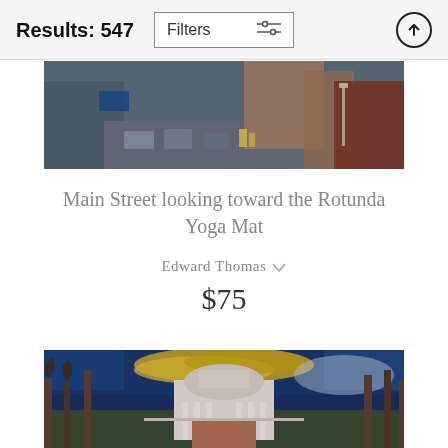Results: 547
Filters
[Figure (photo): Aerial view of a main street scene with cars and storefronts]
Main Street looking toward the Rotunda Yoga Mat
Edward Thomas
$75
[Figure (photo): UVA Rotunda building with dramatic sunset sky, trees in foreground and background]